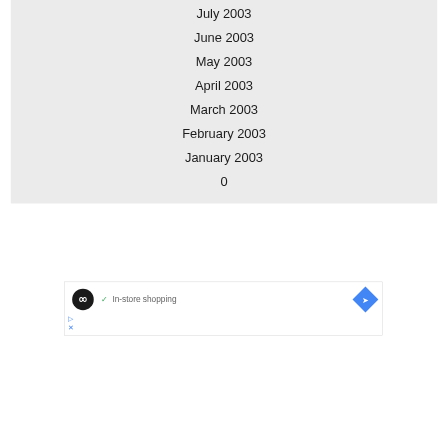July 2003
June 2003
May 2003
April 2003
March 2003
February 2003
January 2003
0
[Figure (other): Advertisement banner with a black circular logo with infinity-like symbol, green checkmark, text 'In-store shopping', blue diamond navigation arrow icon, and two small blue control icons (play and close)]